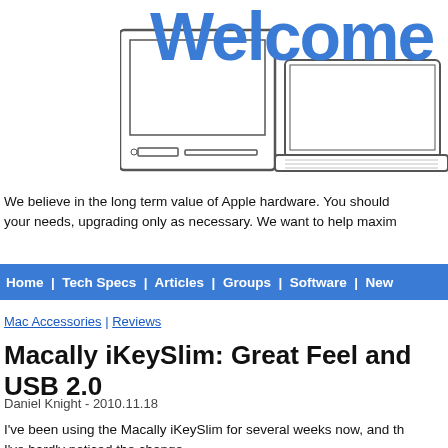[Figure (illustration): Website header banner with 'Welcome' text in bold blue letters, a desktop Mac computer illustration on the left, and a laptop computer illustration on the right, on a white background.]
We believe in the long term value of Apple hardware. You should your needs, upgrading only as necessary. We want to help maxim
Home | Tech Specs | Articles | Groups | Software | New
Mac Accessories | Reviews
Macally iKeySlim: Great Feel and USB 2.0
Daniel Knight - 2010.11.18
I've been using the Macally iKeySlim for several weeks now, and th I've hardly noticed the change.